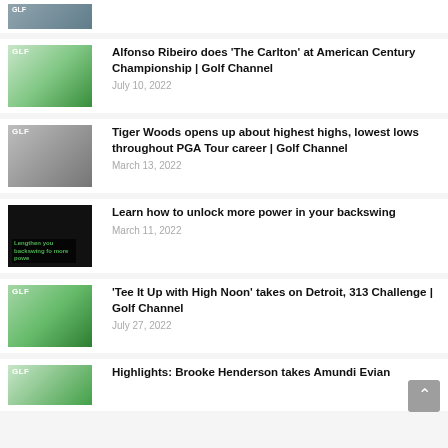[Figure (screenshot): Partial thumbnail of a Golf Channel video at the top of the list]
Alfonso Ribeiro does ‘The Carlton’ at American Century Championship | Golf Channel
July 10, 2022
Tiger Woods opens up about highest highs, lowest lows throughout PGA Tour career | Golf Channel
March 13, 2022
Learn how to unlock more power in your backswing
March 11, 2022
‘Tee It Up with High Noon’ takes on Detroit, 313 Challenge | Golf Channel
July 27, 2022
Highlights: Brooke Henderson takes Amundi Evian